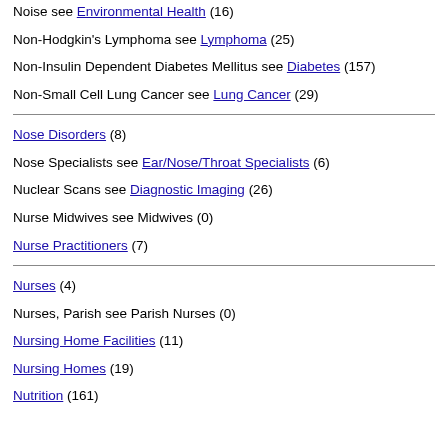Noise see Environmental Health (16)
Non-Hodgkin's Lymphoma see Lymphoma (25)
Non-Insulin Dependent Diabetes Mellitus see Diabetes (157)
Non-Small Cell Lung Cancer see Lung Cancer (29)
Nose Disorders (8)
Nose Specialists see Ear/Nose/Throat Specialists (6)
Nuclear Scans see Diagnostic Imaging (26)
Nurse Midwives see Midwives (0)
Nurse Practitioners (7)
Nurses (4)
Nurses, Parish see Parish Nurses (0)
Nursing Home Facilities (11)
Nursing Homes (19)
Nutrition (161)